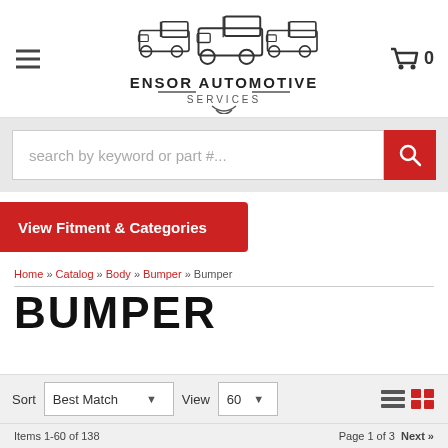[Figure (logo): Ensor Automotive Services logo with three trucks and shield emblem]
search by keyword or part #...
View Fitment & Categories
Home » Catalog » Body » Bumper » Bumper
BUMPER
Sort  Best Match  View  60
Items 1-60 of 138  Page 1 of 3  Next »